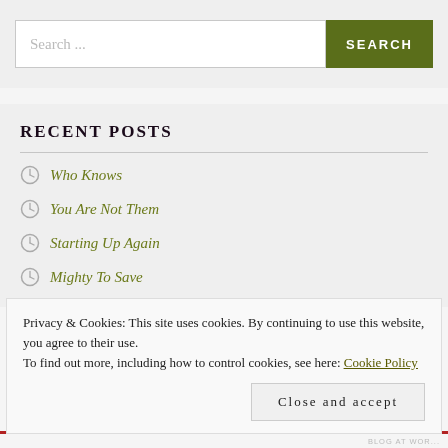Search ...
SEARCH
RECENT POSTS
Who Knows
You Are Not Them
Starting Up Again
Mighty To Save
Privacy & Cookies: This site uses cookies. By continuing to use this website, you agree to their use. To find out more, including how to control cookies, see here: Cookie Policy
Close and accept